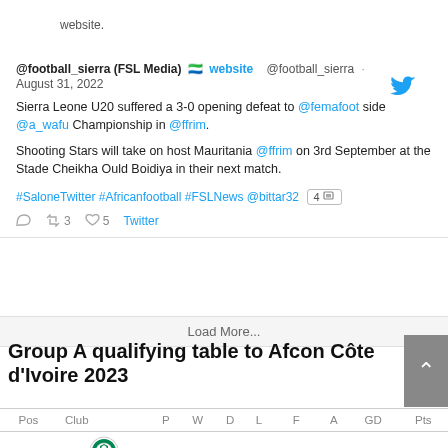website.
@football_sierra (FSL Media) 🇸🇱 website @football_sierra · August 31, 2022
Sierra Leone U20 suffered a 3-0 opening defeat to @femafoot side @a_wafu Championship in @ffrim.

Shooting Stars will take on host Mauritania @ffrim on 3rd September at the Stade Cheikha Ould Boidiya in their next match.

#SaloneTwitter #Africanfootball #FSLNews @bittar32 [4 images]

[reply] [retweet 3] [like 5] Twitter
Load More...
Group A qualifying table to Afcon Côte d'Ivoire 2023
| Pos | Club | P | W | D | L | F | A | GD | Pts |
| --- | --- | --- | --- | --- | --- | --- | --- | --- | --- |
| 1 | Nigeria | 2 | 2 | 0 | 0 | 12 | 1 | 11 | 6 |
|  | [logo] |  |  |  |  |  |  |  |  |